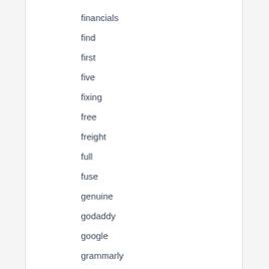financials
find
first
five
fixing
free
freight
full
fuse
genuine
godaddy
google
grammarly
gratis
guide